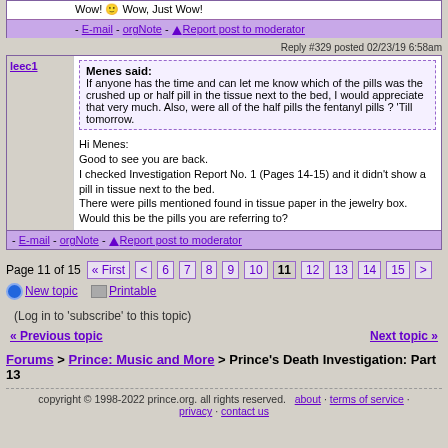Wow! Wow, Just Wow!
- E-mail - orgNote - Report post to moderator
Reply #329 posted 02/23/19 6:58am
leec1
Menes said:
If anyone has the time and can let me know which of the pills was the crushed up or half pill in the tissue next to the bed, I would appreciate that very much. Also, were all of the half pills the fentanyl pills ? 'Till tomorrow.
Hi Menes:
Good to see you are back.
I checked Investigation Report No. 1 (Pages 14-15) and it didn't show a pill in tissue next to the bed.
There were pills mentioned found in tissue paper in the jewelry box. Would this be the pills you are referring to?
- E-mail - orgNote - Report post to moderator
Page 11 of 15  « First  <  6  7  8  9  10  11  12  13  14  15  >
New topic   Printable
(Log in to 'subscribe' to this topic)
« Previous topic
Next topic »
Forums > Prince: Music and More > Prince's Death Investigation: Part 13
copyright © 1998-2022 prince.org. all rights reserved.  about · terms of service · privacy · contact us